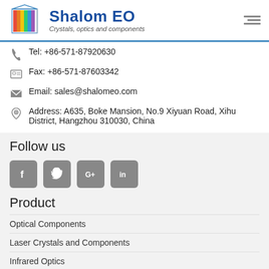[Figure (logo): Shalom EO logo with prism/book graphic and text 'Shalom EO, Crystals, optics and components']
Tel: +86-571-87920630
Fax: +86-571-87603342
Email: sales@shalomeo.com
Address: A635, Boke Mansion, No.9 Xiyuan Road, Xihu District, Hangzhou 310030, China
Follow us
[Figure (illustration): Social media icons: Facebook, Twitter, Google+, LinkedIn]
Product
Optical Components
Laser Crystals and Components
Infrared Optics
Optical Filters